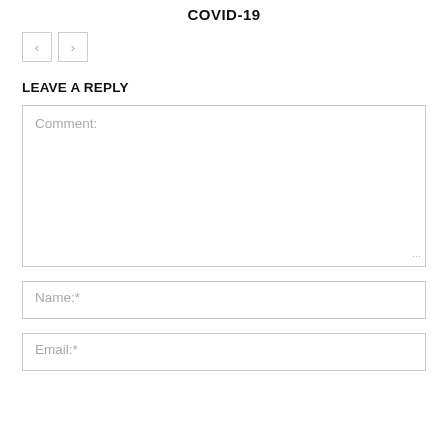COVID-19
[Figure (other): Navigation buttons: left arrow and right arrow]
LEAVE A REPLY
Comment:
Name:*
Email:*